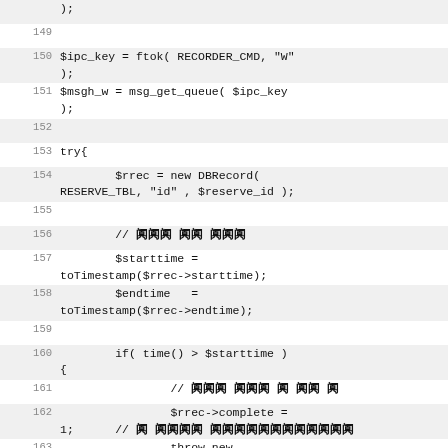[Figure (screenshot): Source code listing showing PHP code lines 148-165, with some comments rendered as garbled/corrupted characters, on alternating light gray and white background rows with line numbers.]